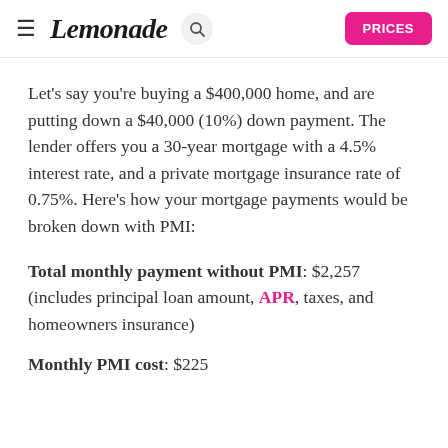≡ Lemonade 🔍 PRICES
Let's say you're buying a $400,000 home, and are putting down a $40,000 (10%) down payment. The lender offers you a 30-year mortgage with a 4.5% interest rate, and a private mortgage insurance rate of 0.75%. Here's how your mortgage payments would be broken down with PMI:
Total monthly payment without PMI: $2,257 (includes principal loan amount, APR, taxes, and homeowners insurance)
Monthly PMI cost: $225